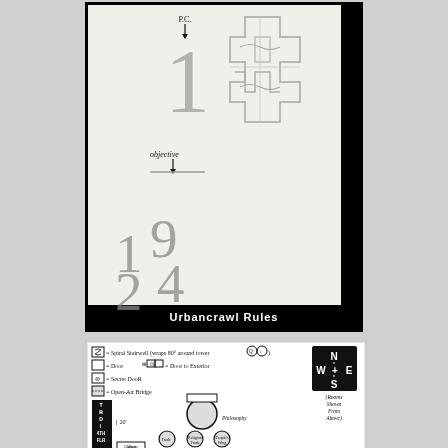[Figure (illustration): Urbancrawl Rules game page illustration showing numbered streets shaped like numerals 1, 9, 2, 4 with labels 'P.C.' and 'objective', a map diagram in upper right, body text columns explaining navigation rules, vertical 'Urbancrawl Rules' text on right side, and 'Urbancrawl Rules' banner at bottom on black background]
[Figure (illustration): Dungeon/tower map legend and floor plan showing spiral stairwell, door, secret door, open-air bridge symbols with N/E/S/W compass, and partial floor plan of a tower with rooms labeled Philosophy, Religion, Trade, People's Wing, Alien Cultures, showing Third Floor and Fourth Floor sections]